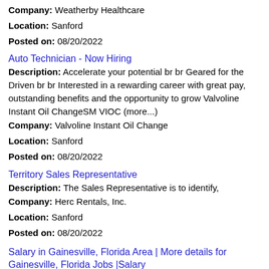Company: Weatherby Healthcare
Location: Sanford
Posted on: 08/20/2022
Auto Technician - Now Hiring
Description: Accelerate your potential br br Geared for the Driven br br Interested in a rewarding career with great pay, outstanding benefits and the opportunity to grow Valvoline Instant Oil ChangeSM VIOC (more...)
Company: Valvoline Instant Oil Change
Location: Sanford
Posted on: 08/20/2022
Territory Sales Representative
Description: The Sales Representative is to identify,
Company: Herc Rentals, Inc.
Location: Sanford
Posted on: 08/20/2022
Salary in Gainesville, Florida Area | More details for Gainesville, Florida Jobs |Salary
Med Director for Trauma Porgram
Description: Physician/MD qualifications required Traumatic